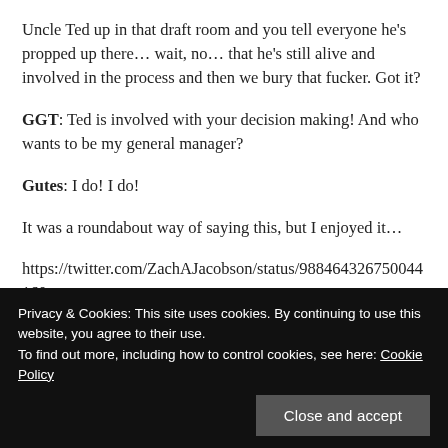Uncle Ted up in that draft room and you tell everyone he's propped up there… wait, no… that he's still alive and involved in the process and then we bury that fucker. Got it?
GGT: Ted is involved with your decision making! And who wants to be my general manager?
Gutes: I do! I do!
It was a roundabout way of saying this, but I enjoyed it…
https://twitter.com/ZachAJacobson/status/988464326750044160
Privacy & Cookies: This site uses cookies. By continuing to use this website, you agree to their use.
To find out more, including how to control cookies, see here: Cookie Policy
Close and accept